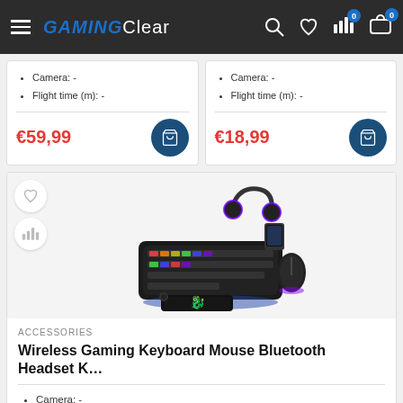GAMING Clear — navigation header with search, wishlist, compare, and cart icons
Camera: -
Flight time (m): -
€59,99
Camera: -
Flight time (m): -
€18,99
[Figure (photo): Gaming accessories set including wireless keyboard with RGB lighting, wireless mouse, Bluetooth headset, phone stand, and gaming mouse pad with green logo]
ACCESSORIES
Wireless Gaming Keyboard Mouse Bluetooth Headset K…
Camera: -
Flight time (m): -